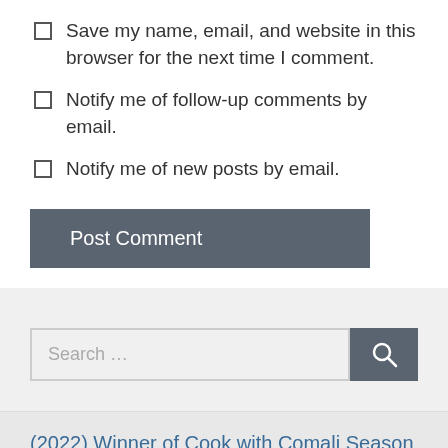Save my name, email, and website in this browser for the next time I comment.
Notify me of follow-up comments by email.
Notify me of new posts by email.
Post Comment
Search …
(2022) Winner of Cook with Comali Season 3